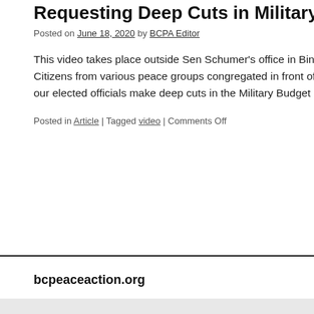Requesting Deep Cuts in Military Spendi…
Posted on June 18, 2020 by BCPA Editor
This video takes place outside Sen Schumer's office in Bingham… Citizens from various peace groups congregated in front of the b… our elected officials make deep cuts in the Military Budget … C
Posted in Article | Tagged video | Comments Off
bcpeaceaction.org